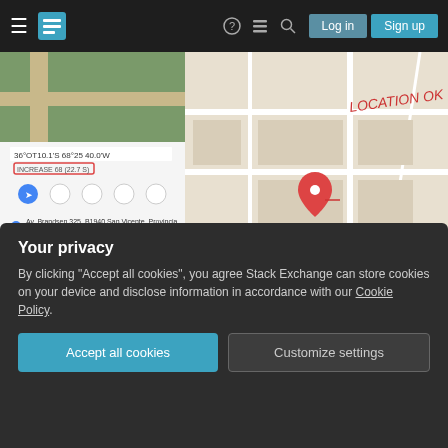Stack Exchange navigation bar with Log in and Sign up buttons
[Figure (screenshot): Screenshot of Google Maps showing a location pin with coordinates 36°OT10.1'S 68°25'40.0'W and surrounding map view with handwritten annotation 'LOCATION OK', alongside a Google Maps sidebar showing address details.]
I import the CSV as delimited text layer, use the EPSG:4326 coordinate system for both the layer and the OS Map layer, use the comma as decimal separator and semicolon as field separator (the
Your privacy
By clicking "Accept all cookies", you agree Stack Exchange can store cookies on your device and disclose information in accordance with our Cookie Policy.
Accept all cookies   Customize settings